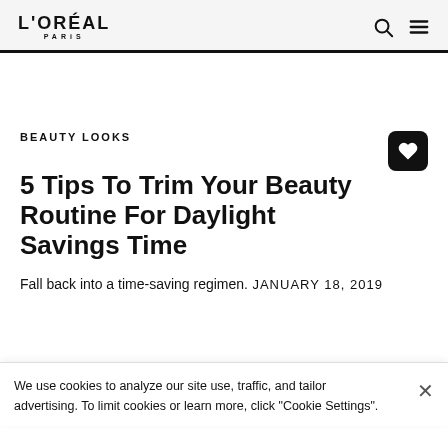L'ORÉAL PARIS
BEAUTY LOOKS
5 Tips To Trim Your Beauty Routine For Daylight Savings Time
Fall back into a time-saving regimen.
JANUARY 18, 2019
We use cookies to analyze our site use, traffic, and tailor advertising. To limit cookies or learn more, click "Cookie Settings".